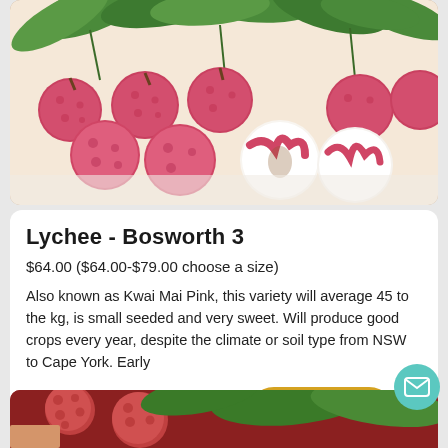[Figure (photo): Photo of multiple red/pink lychee fruits with one peeled open showing white flesh, surrounded by green leaves on a white surface]
Lychee - Bosworth 3
$64.00 ($64.00-$79.00 choose a size)
Also known as Kwai Mai Pink, this variety will average 45 to the kg, is small seeded and very sweet. Will produce good crops every year, despite the climate or soil type from NSW to Cape York. Early
[Figure (photo): Photo of red lychee fruit held in hand with green leaves in background]